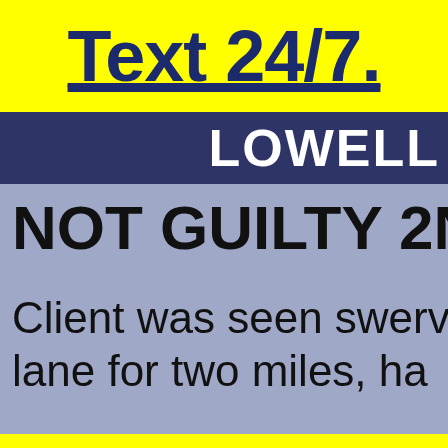Text 24/7.
LOWELL
NOT GUILTY 2ND C
Client was seen swerv lane for two miles, ha
Call 24/7.